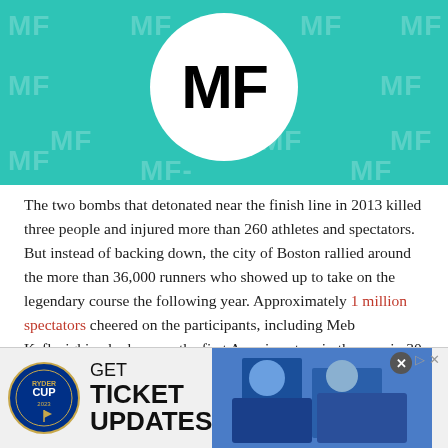[Figure (logo): Muscle & Fitness (MF) logo — white circle with bold black 'MF' text on teal background with repeating MF watermarks]
The two bombs that detonated near the finish line in 2013 killed three people and injured more than 260 athletes and spectators. But instead of backing down, the city of Boston rallied around the more than 36,000 runners who showed up to take on the legendary course the following year. Approximately 1 million spectators cheered on the participants, including Meb Keflezighi, who became the first American to win the race in 30 years and, at 38, the oldest winner since 1930. To honor the victims of the bombing, Keflezighi wrote
[Figure (screenshot): Ryder Cup advertisement banner: logo on left with text 'GET TICKET UPDATES', photo of athletes on right]